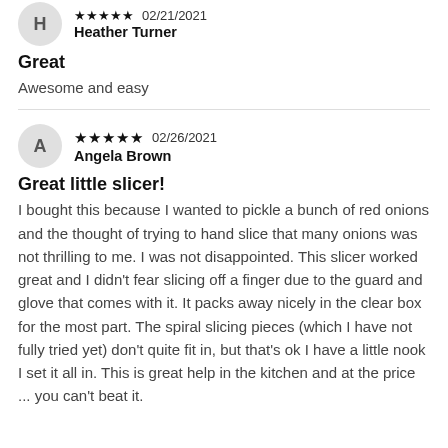★★★★★ 02/21/2021
Heather Turner
Great
Awesome and easy
★★★★★ 02/26/2021
Angela Brown
Great little slicer!
I bought this because I wanted to pickle a bunch of red onions and the thought of trying to hand slice that many onions was not thrilling to me. I was not disappointed. This slicer worked great and I didn't fear slicing off a finger due to the guard and glove that comes with it. It packs away nicely in the clear box for the most part. The spiral slicing pieces (which I have not fully tried yet) don't quite fit in, but that's ok I have a little nook I set it all in. This is great help in the kitchen and at the price ... you can't beat it.